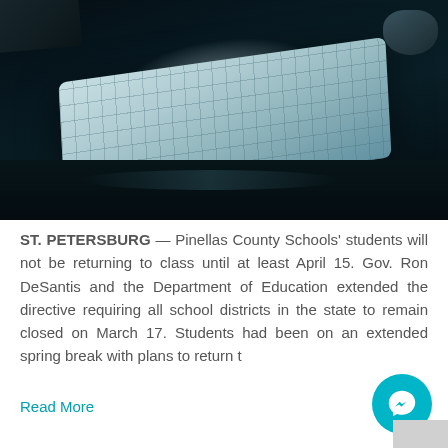[Figure (photo): Close-up photo of a white Apple Magic Keyboard on a dark desk surface, with a mouse partially visible in the upper right corner and another dark object in the upper left. The keyboard is lit with a cool teal/blue light from the left side.]
ST. PETERSBURG — Pinellas County Schools' students will not be returning to class until at least April 15. Gov. Ron DeSantis and the Department of Education extended the directive requiring all school districts in the state to remain closed on March 17. Students had been on an extended spring break with plans to return t
Read More